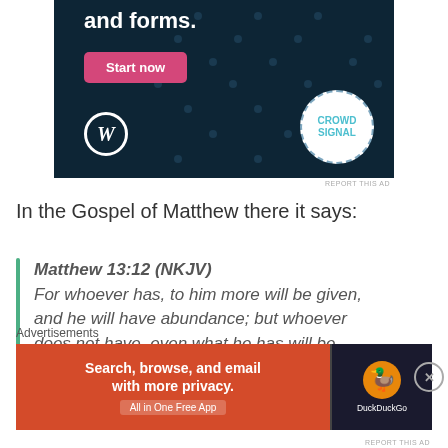[Figure (screenshot): Advertisement banner with dark navy background showing WordPress logo and CrowdSignal logo, with 'and forms.' heading text and pink 'Start now' button]
REPORT THIS AD
In the Gospel of Matthew there it says:
Matthew 13:12 (NKJV)
For whoever has, to him more will be given, and he will have abundance; but whoever does not have, even what he has will be taken away from him.
Advertisements
[Figure (screenshot): DuckDuckGo advertisement: 'Search, browse, and email with more privacy. All in One Free App' on orange background with DuckDuckGo duck logo on dark background]
REPORT THIS AD